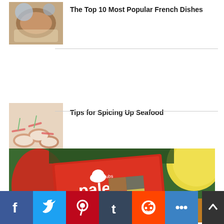[Figure (photo): Food photo of French dish on a blue floral plate]
The Top 10 Most Popular French Dishes
[Figure (photo): Smoked salmon appetizers on small rounds with cream cheese and herbs]
Tips for Spicing Up Seafood
[Figure (photo): Chocolate oatmeal cookies on a cooling rack]
Sensational Chocolate Oatmeal Cookies
[Figure (photo): Paleo Grubs cookbook cover surrounded by colorful food photos including vegetables, meats, and dishes]
[Figure (infographic): Social media share buttons: Facebook (blue), Twitter (light blue), Pinterest (red), Tumblr (dark blue), Reddit (orange), More (blue)]